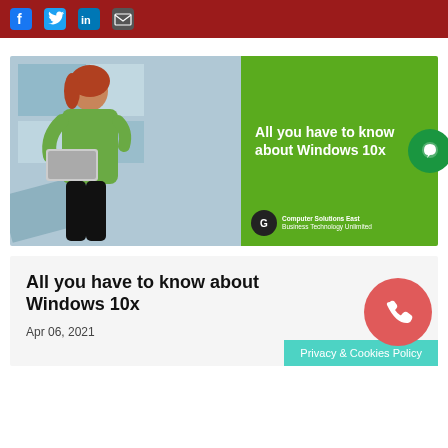[Figure (infographic): Dark red/maroon top bar with social media icons: Facebook (f), Twitter bird, LinkedIn (in), and email envelope icons in blue/dark colors]
[Figure (photo): Article header image: woman in green shirt holding laptop on left (blue geometric background), green right panel with white bold text 'All you have to know about Windows 10x' and Computer Solutions East logo at bottom]
All you have to know about Windows 10x
Apr 06, 2021
Privacy & Cookies Policy